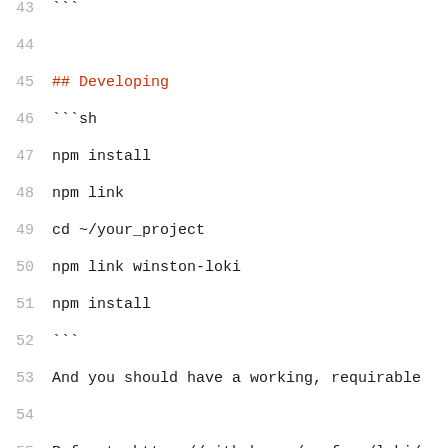43  ```
44
45  ## Developing
46  ```sh
47  npm install
48  npm link
49  cd ~/your_project
50  npm link winston-loki
51  npm install
52  ```
53  And you should have a working, requirable
54
55  Refer to https://github.com/grafana/loki/
56
57  ### Run tests
58  ```sh
59  npm test
60  ```